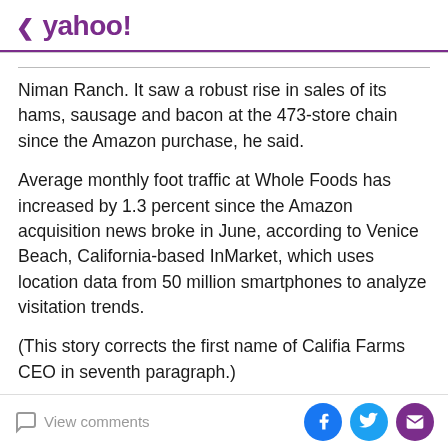< yahoo!
Niman Ranch. It saw a robust rise in sales of its hams, sausage and bacon at the 473-store chain since the Amazon purchase, he said.
Average monthly foot traffic at Whole Foods has increased by 1.3 percent since the Amazon acquisition news broke in June, according to Venice Beach, California-based InMarket, which uses location data from 50 million smartphones to analyze visitation trends.
(This story corrects the first name of Califia Farms CEO in seventh paragraph.)
(Reporting by Lisa Baertlein and Chris Prentice; Editing by Tom Brown)
View comments | Facebook | Twitter | Mail